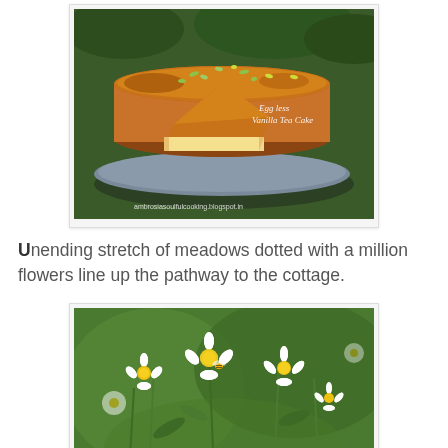[Figure (photo): A round vanilla sponge cake with a slice cut out, sprinkled with green cardamom, served on a metal plate. Text overlay reads 'Egg less Vanilla Tea Cake' and 'ambrosiasoulfulcooking.blogspot.in']
Unending stretch of meadows dotted with a million flowers line up the pathway to the cottage.
[Figure (photo): Close-up photograph of white daisy-like flowers with yellow centers blooming on green stems against a blurred green background.]